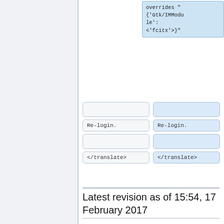[Figure (screenshot): Code snippet in a blue highlighted box showing: overrides "{'Gtk/IMModule': '<fcitx>'}"]
|  |  |
| Re-login. | Re-login. |
|  |  |
| </translate> | </translate> |
Latest revision as of 15:54, 17 February 2017
1. libibus maybe compiled as a dependency of gnome, don't try to remove it. If you're using gentoo, try below steps to remove ibus: